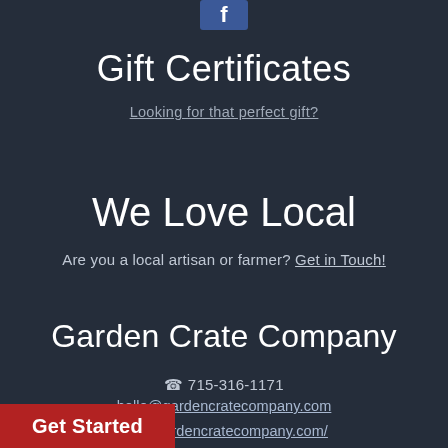[Figure (logo): Facebook icon / logo in blue square at top center]
Gift Certificates
Looking for that perfect gift?
We Love Local
Are you a local artisan or farmer? Get in Touch!
Garden Crate Company
☎ 715-316-1171
hello@gardencratecompany.com
www.gardencratecompany.com/
Get Started